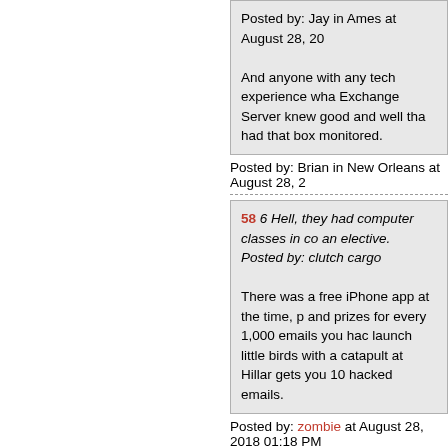And anyone with any tech experience wha Exchange Server knew good and well that had that box monitored.
Posted by: Brian in New Orleans at August 28, 2
58 6 Hell, they had computer classes in co an elective. Posted by: clutch cargo
There was a free iPhone app at the time, p and prizes for every 1,000 emails you hac launch little birds with a catapult at Hillar gets you 10 hacked emails.
Posted by: zombie at August 28, 2018 01:18 PM
59 19 In any other political climate, this would b AMERICAN HISTORY.
Think about it: The acting Secretary of St security clearance of ANYONE in govern